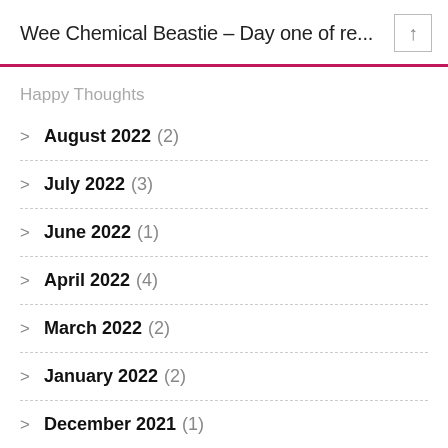Wee Chemical Beastie – Day one of re...
Happy Thoughts
August 2022 (2)
July 2022 (3)
June 2022 (1)
April 2022 (4)
March 2022 (2)
January 2022 (2)
December 2021 (1)
November 2021 (1)
October 2021 (1)